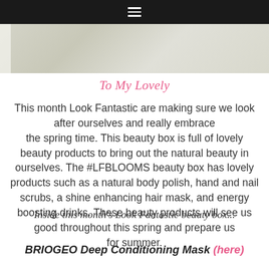≡
[Figure (photo): Partial view of beauty/cosmetic products on a light background, cropped at the top of the page]
To My Lovely
This month Look Fantastic are making sure we look after ourselves and really embrace the spring time. This beauty box is full of lovely beauty products to bring out the natural beauty in ourselves. The #LFBLOOMS beauty box has lovely products such as a natural body polish, hand and nail scrubs, a shine enhancing hair mask, and energy boosting drinks. These beauty products will see us good throughout this spring and prepare us for summer.
Inside this month's Look Fantastic beauty box...
BRIOGEO Deep Conditioning Mask (here)